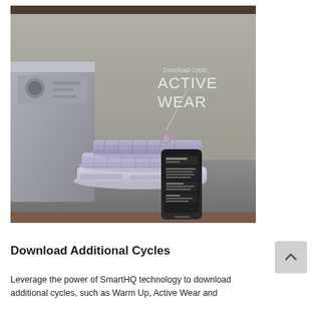[Figure (photo): A washer/dryer appliance with folded athletic/activewear clothing stacked on a countertop, and a smartphone resting against the clothes showing an app screen. Overlaid text in the upper right reads 'Download Cycle: ACTIVE WEAR' with a pointer arrow indicating the phone screen.]
Download Additional Cycles
Leverage the power of SmartHQ technology to download additional cycles, such as Warm Up, Active Wear and